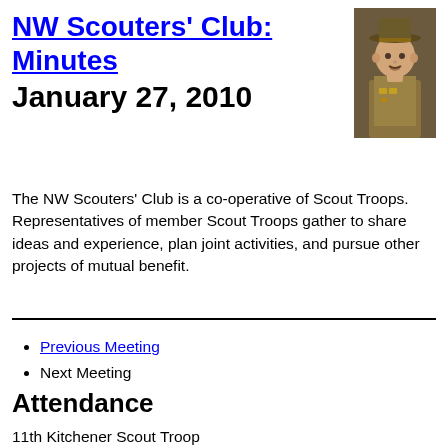NW Scouters' Club: Minutes January 27, 2010
[Figure (photo): Portrait illustration of a Scout leader in uniform with hat]
The NW Scouters' Club is a co-operative of Scout Troops. Representatives of member Scout Troops gather to share ideas and experience, plan joint activities, and pursue other projects of mutual benefit.
Previous Meeting
Next Meeting
Attendance
11th Kitchener Scout Troop
    Robert MacDonald
30th Kitchener Scout Troop
    Steve Freure
38th Kitchener Scout Troop
    Bill Yurkiw
49th Kitchener Scout Troop